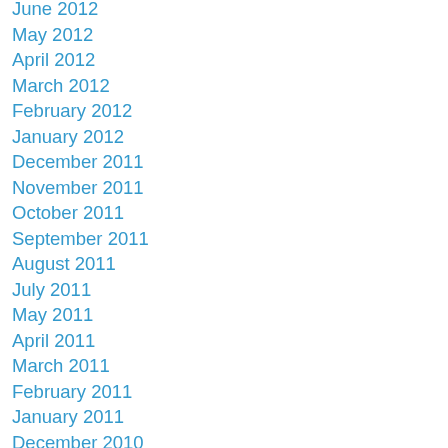June 2012
May 2012
April 2012
March 2012
February 2012
January 2012
December 2011
November 2011
October 2011
September 2011
August 2011
July 2011
May 2011
April 2011
March 2011
February 2011
January 2011
December 2010
November 2010
October 2010
September 2010